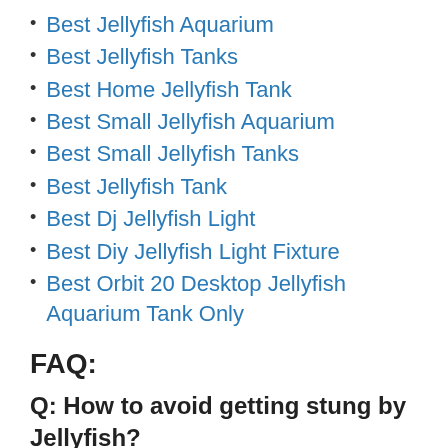Best Jellyfish Aquarium
Best Jellyfish Tanks
Best Home Jellyfish Tank
Best Small Jellyfish Aquarium
Best Small Jellyfish Tanks
Best Jellyfish Tank
Best Dj Jellyfish Light
Best Diy Jellyfish Light Fixture
Best Orbit 20 Desktop Jellyfish Aquarium Tank Only
FAQ:
Q: How to avoid getting stung by Jellyfish?
A: – look out for beach warning signs – consider wearing a wetsuit when swimming